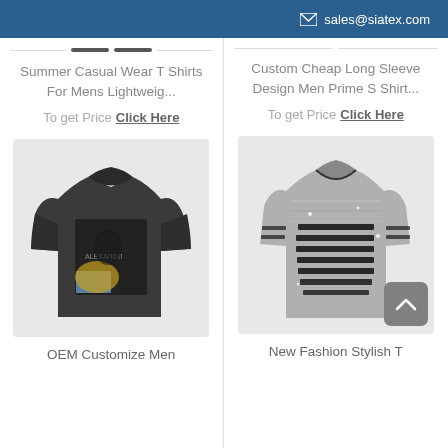sales@siatex.com
Summer Casual Wear T Shirts For Mens Lightweig...
To get Price  Click Here
Custom Cheap Long Sleeve Design Men Prime S Shirt...
To get Price  Click Here
[Figure (photo): Dark grey graphic t-shirt with artistic print featuring a person with bright colors]
[Figure (photo): Grey marled t-shirt with horizontal slash cut-out details across the chest and body]
OEM Customize Men
New Fashion Stylish T